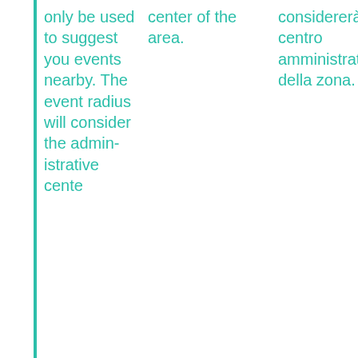only be used to suggest you events nearby. The event radius will consider the administrative center (continued)
center of the area.
considererà il centro amministrativo della zona.